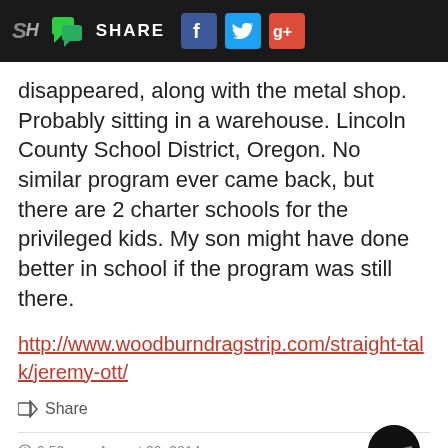SH | SHARE [Facebook] [Twitter] [Google+]
disappeared, along with the metal shop. Probably sitting in a warehouse. Lincoln County School District, Oregon. No similar program ever came back, but there are 2 charter schools for the privileged kids. My son might have done better in school if the program was still there.
http://www.woodburndragstrip.com/straight-talk/jeremy-ott/
Share
9:52 pm  August 29, 2014
M_goose